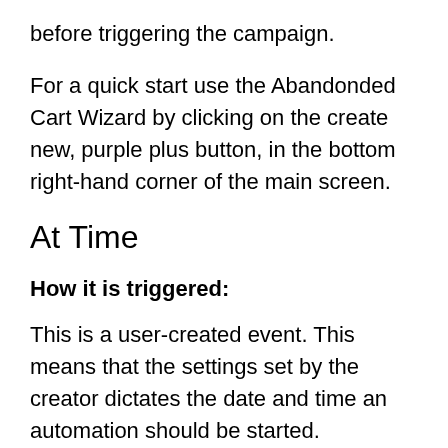before triggering the campaign.
For a quick start use the Abandonded Cart Wizard by clicking on the create new, purple plus button, in the bottom right-hand corner of the main screen.
At Time
How it is triggered:
This is a user-created event. This means that the settings set by the creator dictates the date and time an automation should be started.
Note: As soon as the Automation is enabled the Automation will trigger. This is especially